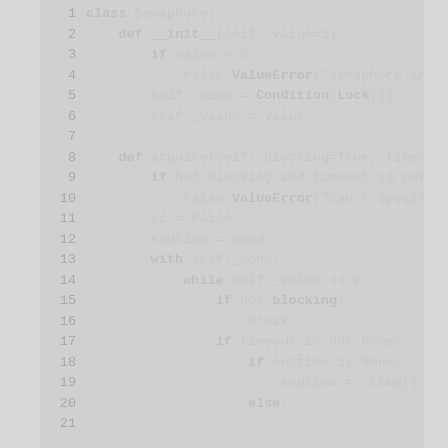[Figure (screenshot): Code listing showing Python Semaphore class implementation with line numbers 1-20, displaying methods __init__ and acquire with logic for blocking, timeout, and condition variables.]